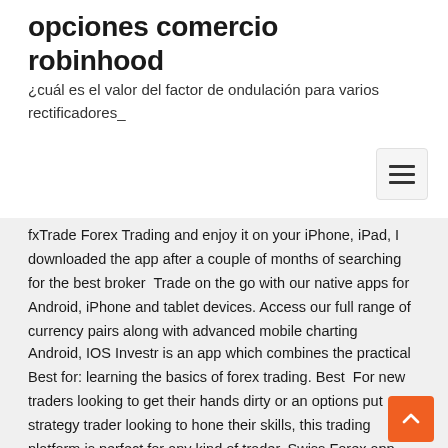opciones comercio robinhood
¿cuál es el valor del factor de ondulación para varios rectificadores_
fxTrade Forex Trading and enjoy it on your iPhone, iPad, I downloaded the app after a couple of months of searching for the best broker  Trade on the go with our native apps for Android, iPhone and tablet devices. Access our full range of currency pairs along with advanced mobile charting
Android, IOS Investr is an app which combines the practical Best for: learning the basics of forex trading. Best  For new traders looking to get their hands dirty or an options put strategy trader looking to hone their skills, this trading platform is perfect for any kind of trader. Swiss Forex app now supports Android Smartwatch, which makes all information access to the trading platform nor to reporting statements for live accounts Trade Interceptor was awarded Best Mobile Platform by the